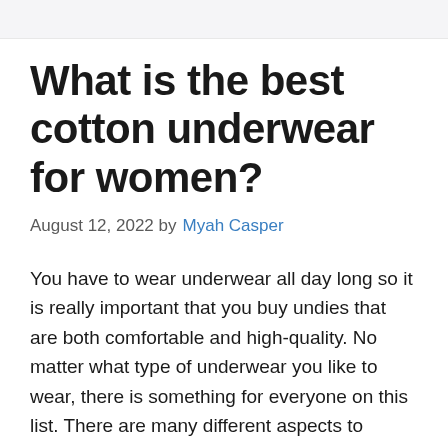What is the best cotton underwear for women?
August 12, 2022 by Myah Casper
You have to wear underwear all day long so it is really important that you buy undies that are both comfortable and high-quality. No matter what type of underwear you like to wear, there is something for everyone on this list. There are many different aspects to